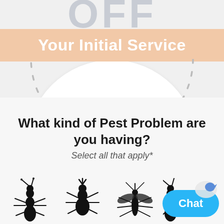[Figure (illustration): Coupon graphic: large grey 'OFF' text with a peach/salmon colored banner reading 'Your Initial Service', overlaid on a circular white coupon shape with dotted border arc at bottom]
What kind of Pest Problem are you having?
Select all that apply*
[Figure (illustration): Silhouette icons of pest insects: ant, flea/tick, mosquito, and partial ant at right edge]
[Figure (illustration): Blue 'Chat' button with small bird/logo icon in lower right corner]